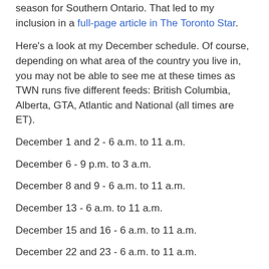season for Southern Ontario. That led to my inclusion in a full-page article in The Toronto Star.
Here's a look at my December schedule. Of course, depending on what area of the country you live in, you may not be able to see me at these times as TWN runs five different feeds: British Columbia, Alberta, GTA, Atlantic and National (all times are ET).
December 1 and 2 - 6 a.m. to 11 a.m.
December 6 - 9 p.m. to 3 a.m.
December 8 and 9 - 6 a.m. to 11 a.m.
December 13 - 6 a.m. to 11 a.m.
December 15 and 16 - 6 a.m. to 11 a.m.
December 22 and 23 - 6 a.m. to 11 a.m.
December 29 and 30 - 6 a.m. to 11 a.m.